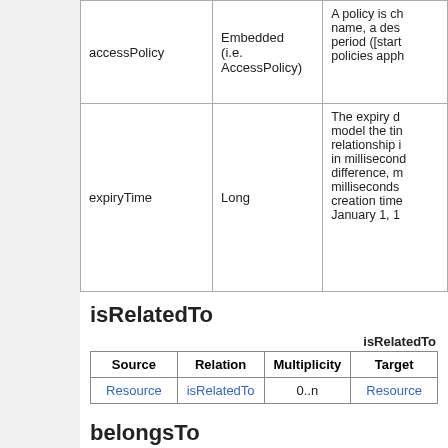|  |  |  |
| --- | --- | --- |
| accessPolicy | Embedded (i.e. AccessPolicy) | A policy is ch... name, a des... period ([start... policies apph... |
| expiryTime | Long | The expiry d... model the ti... relationship i... in millisecond... difference, m... milliseconds... creation time... January 1, 1... |
isRelatedTo
| Source | Relation | Multiplicity | Target |
| --- | --- | --- | --- |
| Resource | isRelatedTo | 0..n | Resource |
belongsTo
belongsTo extends isRelatedTo